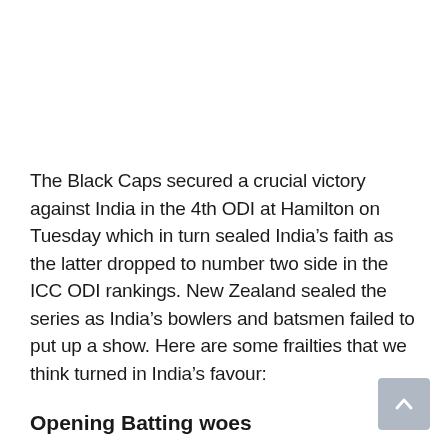The Black Caps secured a crucial victory against India in the 4th ODI at Hamilton on Tuesday which in turn sealed India's faith as the latter dropped to number two side in the ICC ODI rankings. New Zealand sealed the series as India's bowlers and batsmen failed to put up a show. Here are some frailties that we think turned in India's favour:
Opening Batting woes